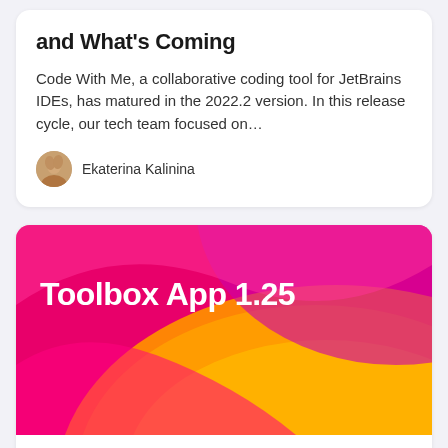and What's Coming
Code With Me, a collaborative coding tool for JetBrains IDEs, has matured in the 2022.2 version. In this release cycle, our tech team focused on…
Ekaterina Kalinina
[Figure (illustration): Colorful gradient banner image for Toolbox App 1.25 with magenta, pink, orange and yellow swirling gradient shapes on a hot-pink background. White bold text reads 'Toolbox App 1.25'.]
July 7, 2022